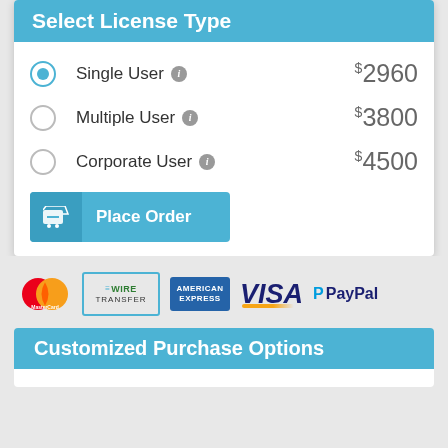Select License Type
Single User  $2960
Multiple User  $3800
Corporate User  $4500
Place Order
[Figure (logo): Payment method logos: MasterCard, Wire Transfer, American Express, VISA, PayPal]
Customized Purchase Options